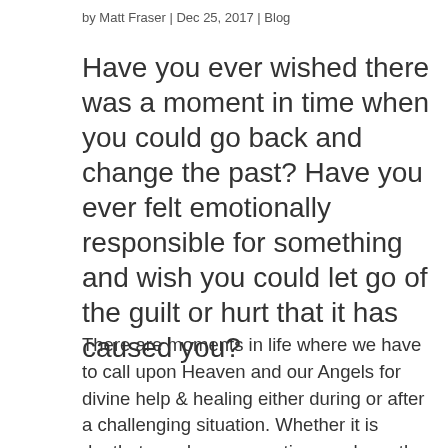by Matt Fraser | Dec 25, 2017 | Blog
Have you ever wished there was a moment in time when you could go back and change the past?
Have you ever felt emotionally responsible for something and wish you could let go of the guilt or hurt that it has caused you?
There are moments in life where we have to call upon Heaven and our Angels for divine help & healing either during or after a challenging situation. Whether it is death, tragedy or separation you have the ability to heal within, and Heaven will help you along the way. It all begins first with yourself and looking deeper into the situation that you are seeking healing over. Although it may be hard to revisit or think about a past situation that was painful sometimes its essential to be able to let go and to allow your soul to move